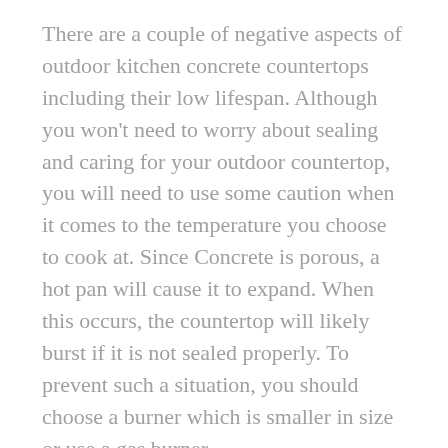There are a couple of negative aspects of outdoor kitchen concrete countertops including their low lifespan. Although you won't need to worry about sealing and caring for your outdoor countertop, you will need to use some caution when it comes to the temperature you choose to cook at. Since Concrete is porous, a hot pan will cause it to expand. When this occurs, the countertop will likely burst if it is not sealed properly. To prevent such a situation, you should choose a burner which is smaller in size or use a gas burner.
It is also important to note that the sealer that you use on your outdoor kitchen countertops including concrete mix will need to be periodically reapplied to ensure that it does not begin to weaken. In order to